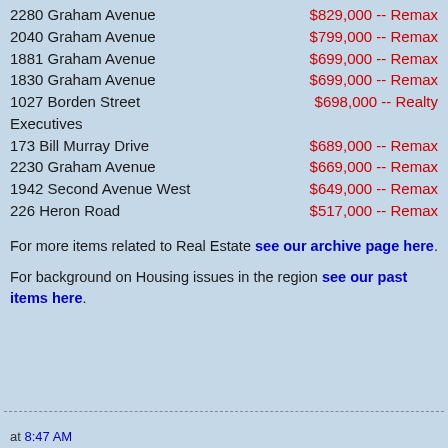2280 Graham Avenue  $829,000 -- Remax
2040 Graham Avenue  $799,000 -- Remax
1881 Graham Avenue  $699,000 -- Remax
1830 Graham Avenue  $699,000 -- Remax
1027 Borden Street  $698,000 -- Realty Executives
173 Bill Murray Drive  $689,000 -- Remax
2230 Graham Avenue  $669,000 -- Remax
1942 Second Avenue West  $649,000 -- Remax
226 Heron Road  $517,000 -- Remax
For more items related to Real Estate see our archive page here.
For background on Housing issues in the region see our past items here.
at 8:47 AM